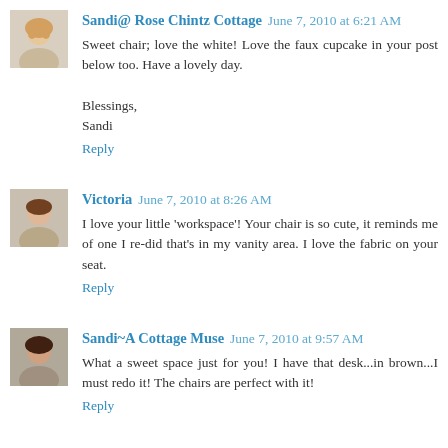[Figure (photo): Avatar photo of Sandi, a woman with blonde hair]
Sandi@ Rose Chintz Cottage June 7, 2010 at 6:21 AM
Sweet chair; love the white! Love the faux cupcake in your post below too. Have a lovely day.

Blessings,
Sandi

Reply
[Figure (photo): Avatar photo of Victoria, a woman smiling]
Victoria June 7, 2010 at 8:26 AM
I love your little 'workspace'! Your chair is so cute, it reminds me of one I re-did that's in my vanity area. I love the fabric on your seat.

Reply
[Figure (photo): Avatar photo of Sandi~A Cottage Muse, a woman with dark hair]
Sandi~A Cottage Muse June 7, 2010 at 9:57 AM
What a sweet space just for you! I have that desk...in brown...I must redo it! The chairs are perfect with it!

Reply